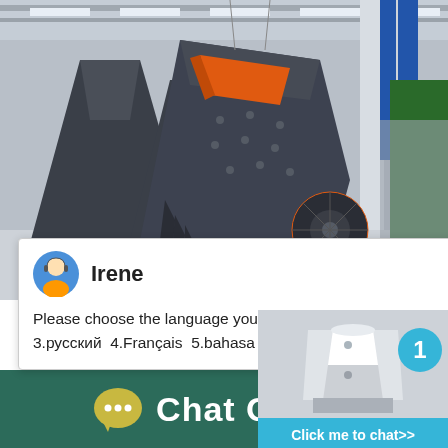[Figure (photo): Industrial machinery factory floor showing large dark grey impact crushers/industrial equipment suspended by crane, with orange-red interior visible, in a large manufacturing facility with blue signage in background]
[Figure (screenshot): Chat popup window showing agent named Irene with avatar, asking user to choose language: 1.English 2.Español 3.русский 4.Français 5.bahasa Indonesia 6. عربسعربی, with close X button]
[Figure (screenshot): Side chat widget showing cone crusher thumbnail image with cyan badge showing number 1, and cyan 'Click me to chat>>' button]
Crushed Basalt - Eco - English W...
[Figure (infographic): Dark teal footer bar with yellow-green speech bubble chat icon and white bold text reading 'Chat Online']